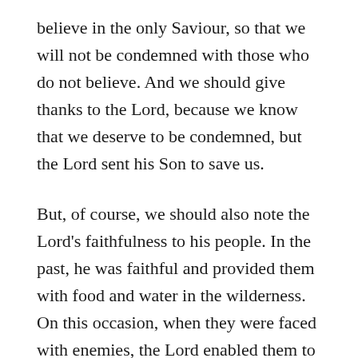believe in the only Saviour, so that we will not be condemned with those who do not believe. And we should give thanks to the Lord, because we know that we deserve to be condemned, but the Lord sent his Son to save us.
But, of course, we should also note the Lord's faithfulness to his people. In the past, he was faithful and provided them with food and water in the wilderness. On this occasion, when they were faced with enemies, the Lord enabled them to defeat their enemies and presumably to deliver those who were taken captive. The Lord was faithful and they should have learned the lesson that they could always trust in him. But, as we'll see, they did not learn the lesson; and